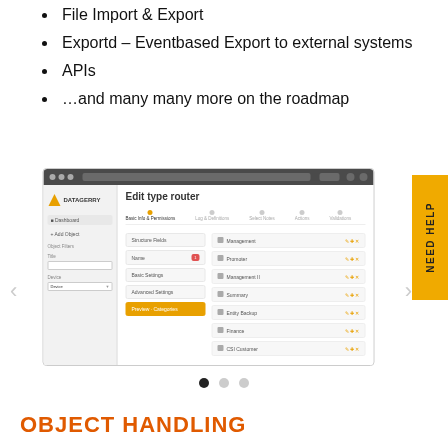File Import & Export
Exportd – Eventbased Export to external systems
APIs
…and many many more on the roadmap
[Figure (screenshot): Screenshot of DATAGERRY application showing 'Edit type router' interface with sidebar navigation, tab controls, and a list of object types including Management, Promoter, Management II, Summary, Entity Backup, Finance, CSI Customer]
OBJECT HANDLING